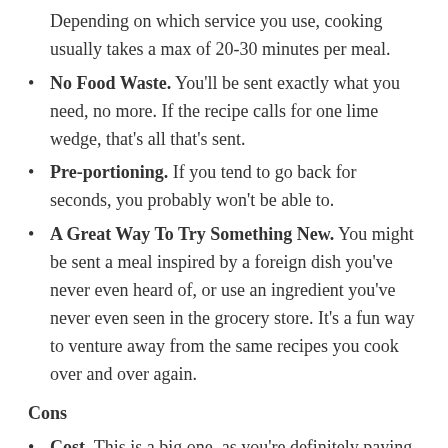Depending on which service you use, cooking usually takes a max of 20-30 minutes per meal.
No Food Waste. You'll be sent exactly what you need, no more. If the recipe calls for one lime wedge, that's all that's sent.
Pre-portioning. If you tend to go back for seconds, you probably won't be able to.
A Great Way To Try Something New. You might be sent a meal inspired by a foreign dish you've never even heard of, or use an ingredient you've never even seen in the grocery store. It's a fun way to venture away from the same recipes you cook over and over again.
Cons
Cost. This is a big one, as you're definitely paying for the convenience. Depending on where you're